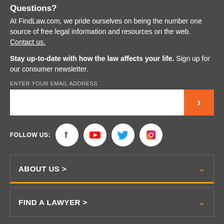Questions?
At FindLaw.com, we pride ourselves on being the number one source of free legal information and resources on the web. Contact us.
Stay up-to-date with how the law affects your life. Sign up for our consumer newsletter.
ENTER YOUR EMAIL ADDRESS
[Figure (other): Email subscription input field with white text box and orange submit button with right arrow]
FOLLOW US:
[Figure (other): Social media icons in white circles: Facebook, YouTube, Twitter, Instagram]
ABOUT US >
FIND A LAWYER >